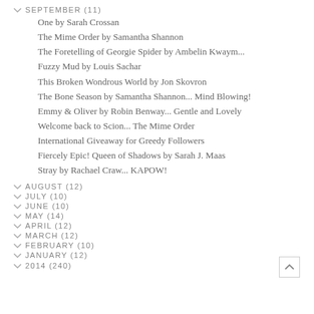SEPTEMBER (11)
One by Sarah Crossan
The Mime Order by Samantha Shannon
The Foretelling of Georgie Spider by Ambelin Kwaym...
Fuzzy Mud by Louis Sachar
This Broken Wondrous World by Jon Skovron
The Bone Season by Samantha Shannon... Mind Blowing!
Emmy & Oliver by Robin Benway... Gentle and Lovely
Welcome back to Scion... The Mime Order
International Giveaway for Greedy Followers
Fiercely Epic! Queen of Shadows by Sarah J. Maas
Stray by Rachael Craw... KAPOW!
AUGUST (12)
JULY (10)
JUNE (10)
MAY (14)
APRIL (12)
MARCH (12)
FEBRUARY (10)
JANUARY (12)
2014 (240)